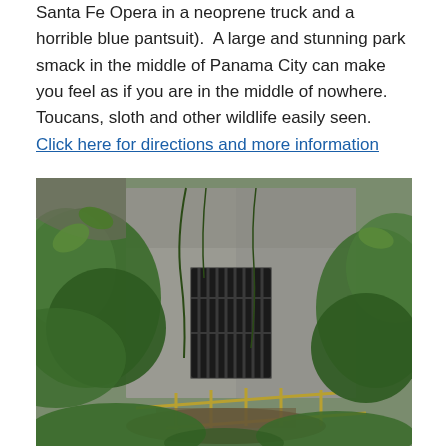Santa Fe Opera in a neoprene truck and a horrible blue pantsuit).  A large and stunning park smack in the middle of Panama City can make you feel as if you are in the middle of nowhere.  Toucans, sloth and other wildlife easily seen.  Click here for directions and more information
[Figure (photo): A concrete bunker or fortified structure overgrown with tropical jungle vegetation, featuring a barred metal gate entrance, surrounded by lush green plants and vines.]